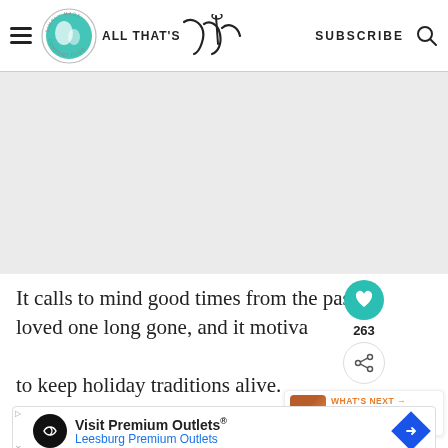ALL THAT'S JAS — SUBSCRIBE
[Figure (other): Gray advertisement placeholder zone]
It calls to mind good times from the pas loved one long gone, and it motiva to keep holiday traditions alive.
[Figure (other): Heart/like button showing 263 likes, share button, and WHAT'S NEXT panel showing 'How to Make Slovenian...']
[Figure (other): Advertisement banner: Visit Premium Outlets® — Leesburg Premium Outlets]